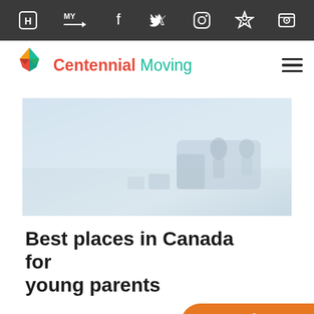Navigation bar with icons: H logo, MY arrow, Facebook, Twitter, Instagram, Home, Location
[Figure (logo): Centennial Moving logo with colorful geometric diamond shape and text 'Centennial Moving']
[Figure (photo): Blurred hero image showing people moving items near a moving truck, light blue/grey tones]
Best places in Canada for young parents
Get free quote